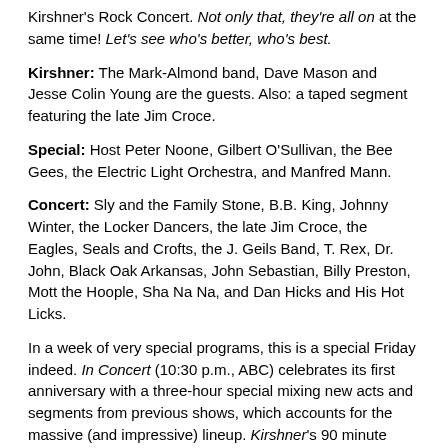Kirshner's Rock Concert. Not only that, they're all on at the same time! Let's see who's better, who's best.
Kirshner: The Mark-Almond band, Dave Mason and Jesse Colin Young are the guests. Also: a taped segment featuring the late Jim Croce.
Special: Host Peter Noone, Gilbert O'Sullivan, the Bee Gees, the Electric Light Orchestra, and Manfred Mann.
Concert: Sly and the Family Stone, B.B. King, Johnny Winter, the Locker Dancers, the late Jim Croce, the Eagles, Seals and Crofts, the J. Geils Band, T. Rex, Dr. John, Black Oak Arkansas, John Sebastian, Billy Preston, Mott the Hoople, Sha Na Na, and Dan Hicks and His Hot Licks.
In a week of very special programs, this is a special Friday indeed. In Concert (10:30 p.m., ABC) celebrates its first anniversary with a three-hour special mixing new acts and segments from previous shows, which accounts for the massive (and impressive) lineup. Kirshner's 90 minute concert (2:15 a.m., WCCO) isn't nearly as large, but makes